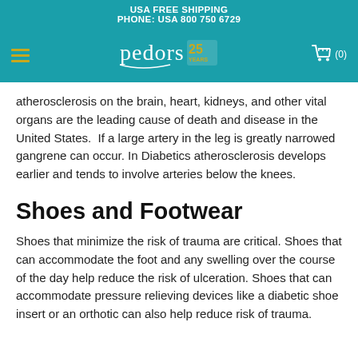USA FREE SHIPPING
PHONE: USA 800 750 6729
[Figure (logo): Pedors 25 Years logo with hamburger menu and shopping cart]
atherosclerosis on the brain, heart, kidneys, and other vital organs are the leading cause of death and disease in the United States. If a large artery in the leg is greatly narrowed gangrene can occur. In Diabetics atherosclerosis develops earlier and tends to involve arteries below the knees.
Shoes and Footwear
Shoes that minimize the risk of trauma are critical. Shoes that can accommodate the foot and any swelling over the course of the day help reduce the risk of ulceration. Shoes that can accommodate pressure relieving devices like a diabetic shoe insert or an orthotic can also help reduce risk of trauma.